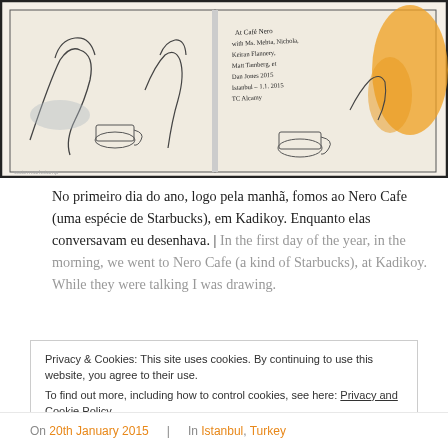[Figure (illustration): Sketch/watercolor illustration of an open sketchbook with drawings of people at a cafe, with handwritten notes and orange/yellow watercolor wash on the right side.]
No primeiro dia do ano, logo pela manhã, fomos ao Nero Cafe (uma espécie de Starbucks), em Kadikoy. Enquanto elas conversavam eu desenhava. | In the first day of the year, in the morning, we went to Nero Cafe (a kind of Starbucks), at Kadikoy. While they were talking I was drawing.
Privacy & Cookies: This site uses cookies. By continuing to use this website, you agree to their use.
To find out more, including how to control cookies, see here: Privacy and Cookie Policy
On 20th January 2015 | In Istanbul, Turkey